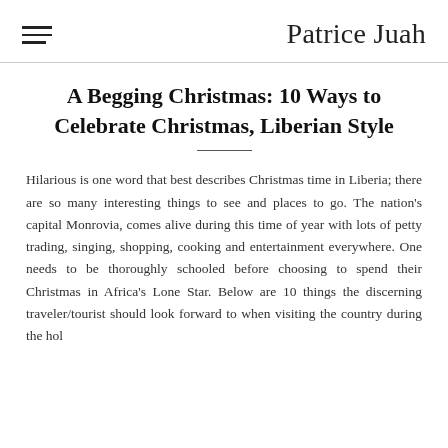Patrice Juah
A Begging Christmas: 10 Ways to Celebrate Christmas, Liberian Style
Hilarious is one word that best describes Christmas time in Liberia; there are so many interesting things to see and places to go. The nation's capital Monrovia, comes alive during this time of year with lots of petty trading, singing, shopping, cooking and entertainment everywhere. One needs to be thoroughly schooled before choosing to spend their Christmas in Africa's Lone Star. Below are 10 things the discerning traveler/tourist should look forward to when visiting the country during the hol